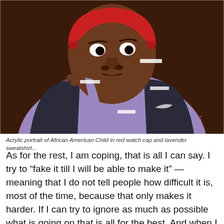[Figure (illustration): Acrylic portrait painting of an African American child wearing a red watch cap and a lavender/purple sweatshirt, with hand raised to chin in a thoughtful pose, against a dark brown background. Small white rectangular label strips are visible on the painting.]
Acrylic portrait of African American Child in red watch cap and lavender sweatshirt...
As for the rest, I am coping, that is all I can say. I try to “fake it till I will be able to make it” — meaning that I do not tell people how difficult it is, most of the time, because that only makes it harder. If I can try to ignore as much as possible what is going on that is all for the best. And when I cannot, I stay by myself and try to deal with it. Or i see someone, my therapist or a person I have hired to stay with me. Or I simply tough it out as